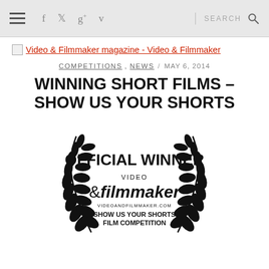Navigation bar with hamburger menu, social icons (f, twitter, g+, v), search
[Figure (logo): Video & Filmmaker magazine logo link with broken image placeholder]
COMPETITIONS, NEWS / MAY 6, 2014
WINNING SHORT FILMS – SHOW US YOUR SHORTS
[Figure (illustration): Official Winner laurel wreath badge for Video & Filmmaker Show Us Your Shorts Film Competition]